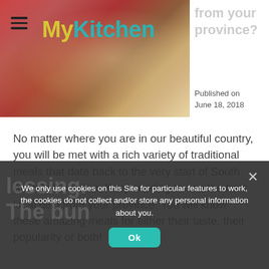[Figure (photo): MyKitchen website header with food photo (bowls of grains/legumes) and logo reading 'MyKitchen' in yellow and teal. Hamburger menu icon top left.]
local dish from your province?
Published on June 18, 2018
No matter where you are in our beautiful country, you will be met with a rich variety of traditional meals that date back to the very start of South Africa's formation. Keep reading to see the best local dish from your province. You will know these amazing meals for either their taste, their popularity or both!
We only use cookies on this Site for particular features to work, the cookies do not collect and/or store any personal information about you.